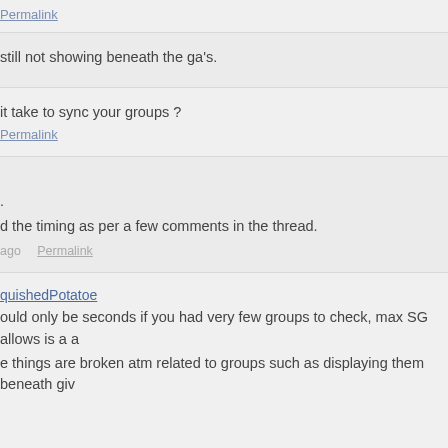Permalink
still not showing beneath the ga's.
it take to sync your groups ?
Permalink
.
d the timing as per a few comments in the thread.
ago  Permalink
quishedPotatoe
ould only be seconds if you had very few groups to check, max SG allows is a a
e things are broken atm related to groups such as displaying them beneath giv